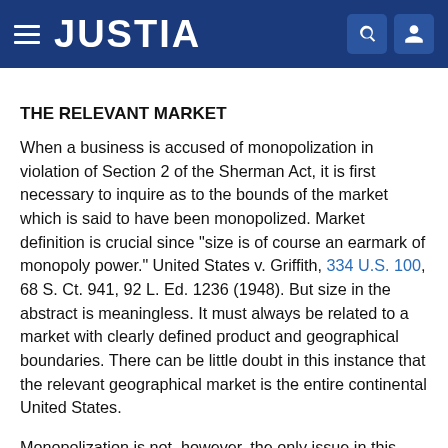JUSTIA
THE RELEVANT MARKET
When a business is accused of monopolization in violation of Section 2 of the Sherman Act, it is first necessary to inquire as to the bounds of the market which is said to have been monopolized. Market definition is crucial since "size is of course an earmark of monopoly power." United States v. Griffith, 334 U.S. 100, 68 S. Ct. 941, 92 L. Ed. 1236 (1948). But size in the abstract is meaningless. It must always be related to a market with clearly defined product and geographical boundaries. There can be little doubt in this instance that the relevant geographical market is the entire continental United States.
Monopolization is not, however, the only issue in this